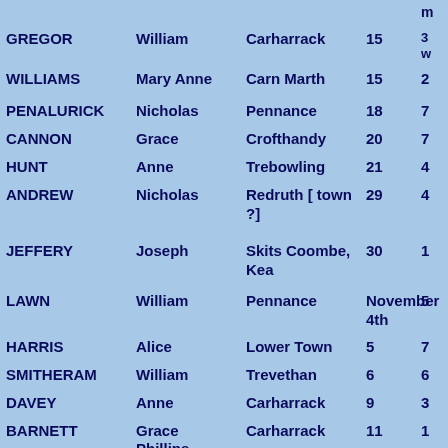| Surname | First Name | Place | Day | Col5 |
| --- | --- | --- | --- | --- |
| GREGOR | William | Carharrack | 15 | 3 w |
| WILLIAMS | Mary Anne | Carn Marth | 15 | 2 |
| PENALURICK | Nicholas | Pennance | 18 | 7 |
| CANNON | Grace | Crofthandy | 20 | 7 |
| HUNT | Anne | Trebowling | 21 | 4 |
| ANDREW | Nicholas | Redruth [ town ?] | 29 | 4 |
| JEFFERY | Joseph | Skits Coombe, Kea | 30 | 1 |
| LAWN | William | Pennance | November 4th | 5 |
| HARRIS | Alice | Lower Town | 5 | 7 |
| SMITHERAM | William | Trevethan | 6 | 6 |
| DAVEY | Anne | Carharrack | 9 | 3 |
| BARNETT | Grace Phillips | Carharrack | 11 | 1 |
| BARNETT | George | Rough Street | 14 | 4 |